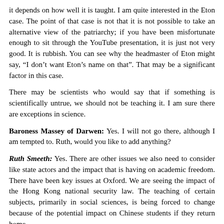it depends on how well it is taught. I am quite interested in the Eton case. The point of that case is not that it is not possible to take an alternative view of the patriarchy; if you have been misfortunate enough to sit through the YouTube presentation, it is just not very good. It is rubbish. You can see why the headmaster of Eton might say, “I don’t want Eton’s name on that”. That may be a significant factor in this case.
There may be scientists who would say that if something is scientifically untrue, we should not be teaching it. I am sure there are exceptions in science.
Baroness Massey of Darwen: Yes. I will not go there, although I am tempted to. Ruth, would you like to add anything?
Ruth Smeeth: Yes. There are other issues we also need to consider like state actors and the impact that is having on academic freedom. There have been key issues at Oxford. We are seeing the impact of the Hong Kong national security law. The teaching of certain subjects, primarily in social sciences, is being forced to change because of the potential impact on Chinese students if they return home.
There are two ways in which this has come to fruition.